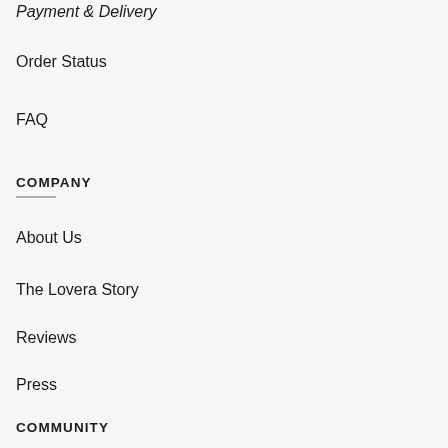Payment & Delivery
Order Status
FAQ
COMPANY
About Us
The Lovera Story
Reviews
Press
COMMUNITY
Blog/News